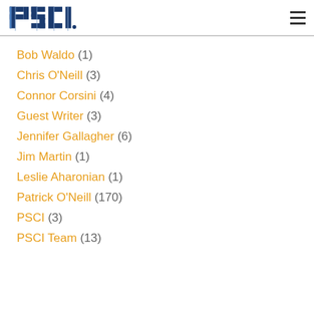PSCI [logo] [hamburger menu]
Bob Waldo (1)
Chris O'Neill (3)
Connor Corsini (4)
Guest Writer (3)
Jennifer Gallagher (6)
Jim Martin (1)
Leslie Aharonian (1)
Patrick O'Neill (170)
PSCI (3)
PSCI Team (13)